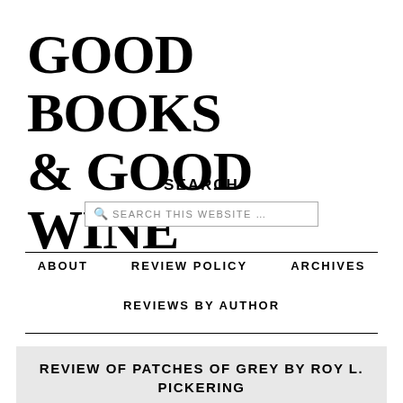GOOD BOOKS & GOOD WINE
SEARCH
SEARCH THIS WEBSITE …
ABOUT   REVIEW POLICY   ARCHIVES
REVIEWS BY AUTHOR
REVIEW OF PATCHES OF GREY BY ROY L. PICKERING